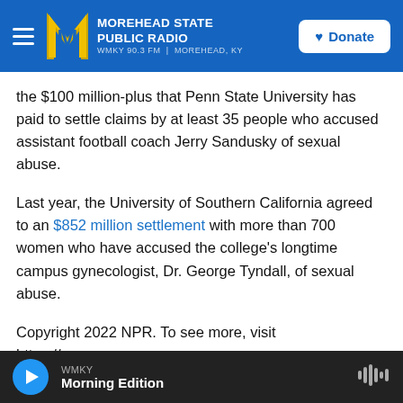MOREHEAD STATE PUBLIC RADIO — WMKY 90.3 FM | MOREHEAD, KY — Donate
the $100 million-plus that Penn State University has paid to settle claims by at least 35 people who accused assistant football coach Jerry Sandusky of sexual abuse.
Last year, the University of Southern California agreed to an $852 million settlement with more than 700 women who have accused the college's longtime campus gynecologist, Dr. George Tyndall, of sexual abuse.
Copyright 2022 NPR. To see more, visit https://www.npr.org.
WMKY — Morning Edition